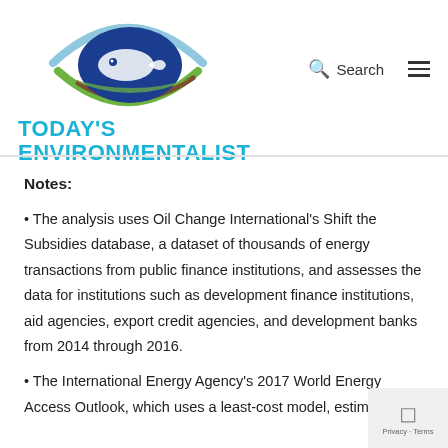[Figure (logo): Today's Environmentalist logo with fish/leaf eye graphic and teal text]
Notes:
• The analysis uses Oil Change International's Shift the Subsidies database, a dataset of thousands of energy transactions from public finance institutions, and assesses the data for institutions such as development finance institutions, aid agencies, export credit agencies, and development banks from 2014 through 2016.
• The International Energy Agency's 2017 World Energy Access Outlook, which uses a least-cost model, estimates